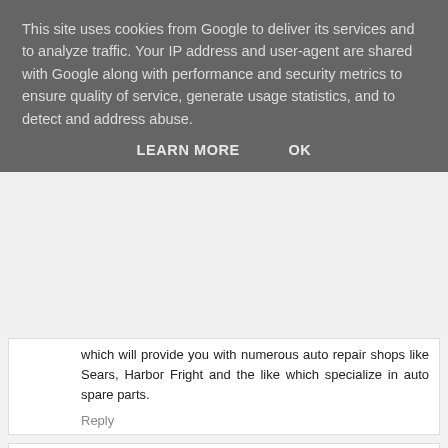This site uses cookies from Google to deliver its services and to analyze traffic. Your IP address and user-agent are shared with Google along with performance and security metrics to ensure quality of service, generate usage statistics, and to detect and address abuse.
LEARN MORE   OK
which will provide you with numerous auto repair shops like Sears, Harbor Fright and the like which specialize in auto spare parts.
Reply
M. Taha  4 December 2020 at 18:50
I think this is one of the most significant information for me. And i'm glad reading your article. But should remark on some general things, The web site style is perfect, the articles is really great : D. Good job, cheers compact tractors
Reply